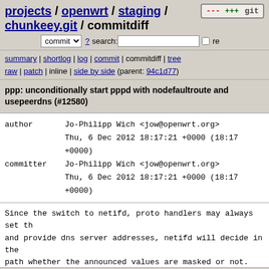projects / openwrt / staging / chunkeey.git / commitdiff
summary | shortlog | log | commit | commitdiff | tree
raw | patch | inline | side by side (parent: 94c1d77)
ppp: unconditionally start pppd with nodefaultroute and usepeerdns (#12580)
author    Jo-Philipp Wich <jow@openwrt.org>
          Thu, 6 Dec 2012 18:17:21 +0000 (18:17 +0000)
committer Jo-Philipp Wich <jow@openwrt.org>
          Thu, 6 Dec 2012 18:17:21 +0000 (18:17 +0000)
Since the switch to netifd, proto handlers may always set th
and provide dns server addresses, netifd will decide in the
path whether the announced values are masked or not.

Additionally protocol handlers should not modify the routing
and prevent any launched services from doing so.

Remove the additional defaultroute and peerdns option handli
protocol handler and rely on netifd to mask or not mask the

SVN-Revision: 34536